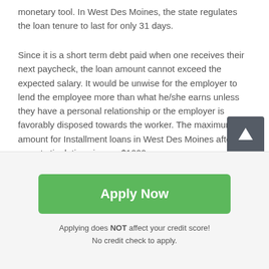monetary tool. In West Des Moines, the state regulates the loan tenure to last for only 31 days.
Since it is a short term debt paid when one receives their next paycheck, the loan amount cannot exceed the expected salary. It would be unwise for the employer to lend the employee more than what he/she earns unless they have a personal relationship or the employer is favorably disposed towards the worker. The maximum amount for Installment loans in West Des Moines after the recent stipulations is now $1000.
In addition to that, the paycheck or the borrower's income streams is what will be used to offset the debt. The short
[Figure (other): Green Apply Now button with note: Applying does NOT affect your credit score! No credit check to apply.]
Applying does NOT affect your credit score!
No credit check to apply.